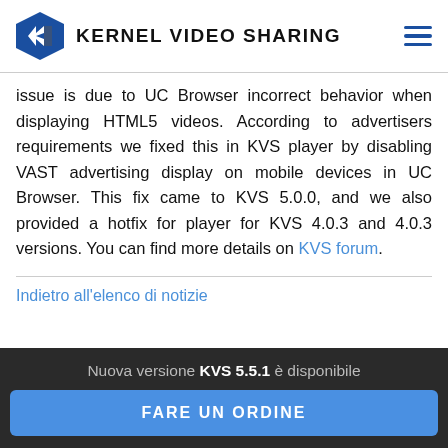KERNEL VIDEO SHARING
issue is due to UC Browser incorrect behavior when displaying HTML5 videos. According to advertisers requirements we fixed this in KVS player by disabling VAST advertising display on mobile dev ices in UC Browser. This fix came to KVS 5.0.0, and we also provided a hotfix for player for KVS 4.0.3 and 4.0.3 versions. You can find more details on KVS forum.
Indietro all'elenco di notizie
Nuova versione KVS 5.5.1 è disponibile
FARE UN ORDINE